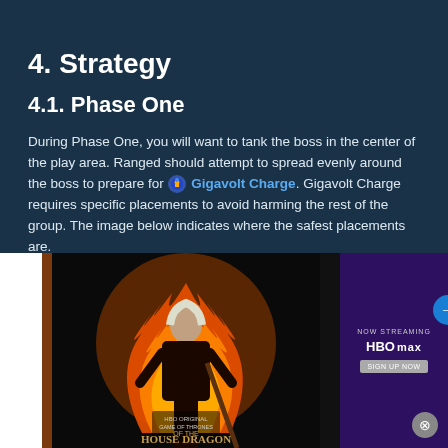4. Strategy
4.1. Phase One
During Phase One, you will want to tank the boss in the center of the play area. Ranged should attempt to spread evenly around the boss to prepare for [icon] Gigavolt Charge. Gigavolt Charge requires specific placements to avoid harming the rest of the group. The image below indicates where the safest placements are.
[Figure (photo): Advertisement overlay showing House of the Dragon HBO series poster on the left and HBO Max streaming promotion on the right with a close button]